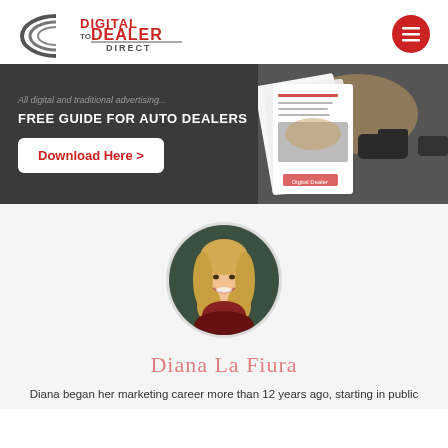[Figure (logo): Digital to Dealer Direct logo with hamburger menu button]
[Figure (infographic): Dark banner ad: FREE GUIDE FOR AUTO DEALERS with Download Here button and car dealership image on the right]
[Figure (photo): Circular profile photo of Diana La Fiura, a blonde woman smiling]
Diana La Fiura
Diana began her marketing career more than 12 years ago, starting in public